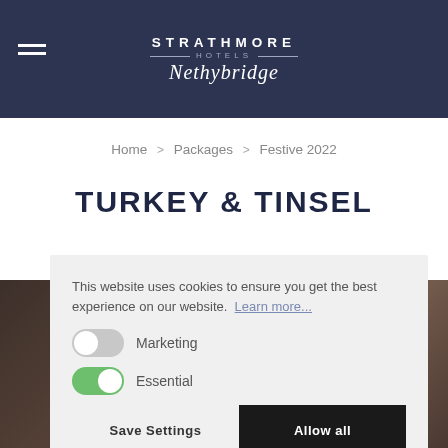STRATHMORE HOTELS Nethybridge
Home > Packages > Festive 2022
TURKEY & TINSEL
This website uses cookies to ensure you get the best experience on our website. Learn more... Marketing Essential
Save Settings | Allow all